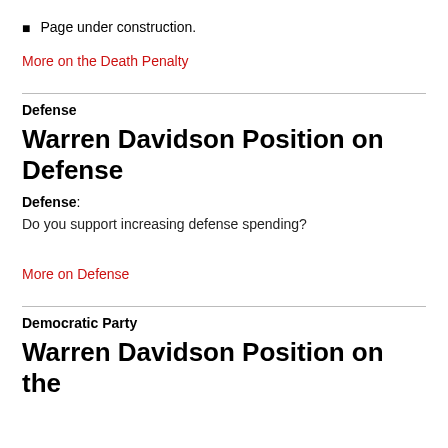Page under construction.
More on the Death Penalty
Defense
Warren Davidson Position on Defense
Defense:
Do you support increasing defense spending?
More on Defense
Democratic Party
Warren Davidson Position on the